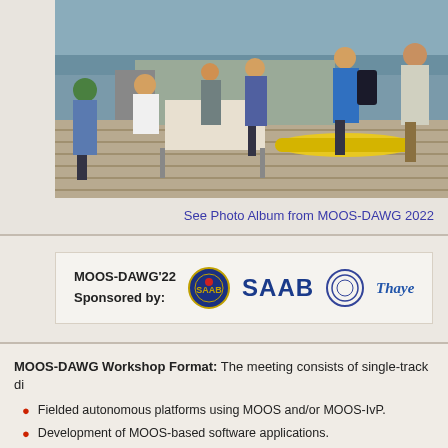[Figure (photo): Outdoor group photo on a wooden dock/pier. Multiple people are gathered around tables with equipment including a yellow autonomous underwater vehicle. Some people are seated at laptops, others are standing. A waterway is visible in the background.]
See Photo Album from MOOS-DAWG 2022
[Figure (logo): MOOS-DAWG'22 Sponsored by: SAAB logo and Thayer logo]
MOOS-DAWG Workshop Format: The meeting consists of single-track di...
Fielded autonomous platforms using MOOS and/or MOOS-IvP.
Development of MOOS-based software applications.